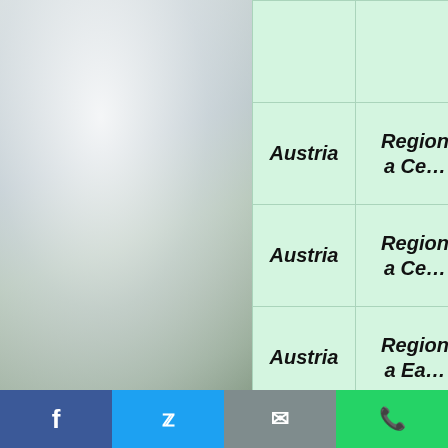[Figure (photo): Misty foggy landscape with trees silhouetted in fog and green meadow, grey-green tones]
| Country | Region/Type |
| --- | --- |
|  |  |
| Austria | Region a Ce… |
| Austria | Region a Ce… |
| Austria | Region a Ea… |
| Austria | Region a We… |
f  Twitter  Email  WhatsApp